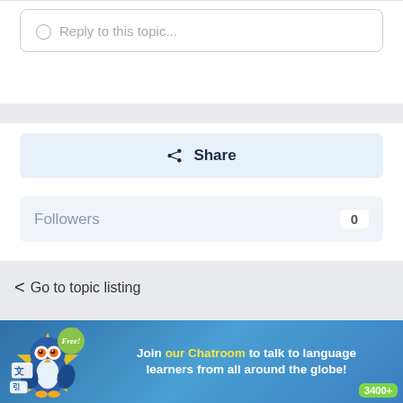Reply to this topic...
Share
Followers 0
< Go to topic listing
[Figure (infographic): Advertisement banner for a language learning chatroom featuring an owl mascot, 'Free!' badge, text 'Join our Chatroom to talk to language learners from all around the globe!' and '3400+' counter on blue background.]